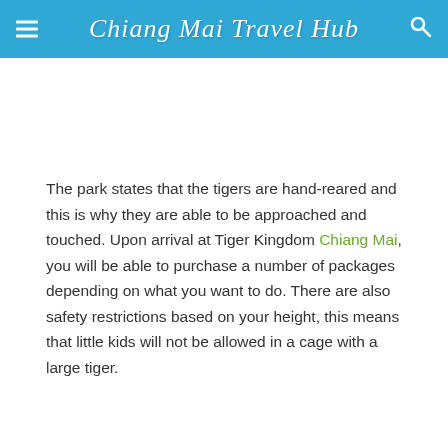Chiang Mai Travel Hub
The park states that the tigers are hand-reared and this is why they are able to be approached and touched. Upon arrival at Tiger Kingdom Chiang Mai, you will be able to purchase a number of packages depending on what you want to do. There are also safety restrictions based on your height, this means that little kids will not be allowed in a cage with a large tiger.